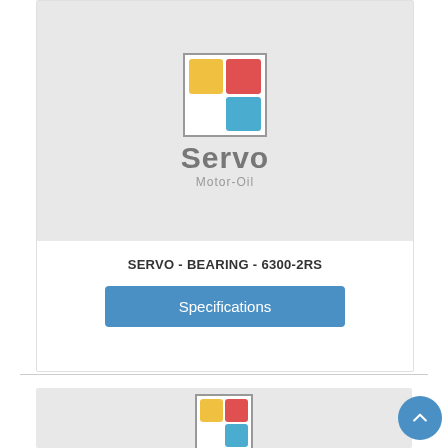[Figure (logo): Servo Motor-Oil logo with colored grid squares (yellow, red, white, blue) above brand name text]
SERVO - BEARING - 6300-2RS
Specifications
[Figure (logo): Partial second Servo Motor-Oil logo card visible below divider]